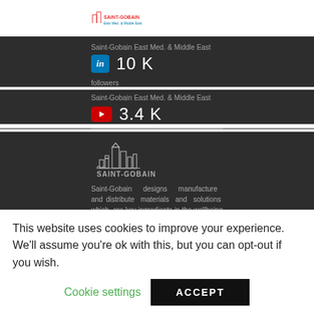[Figure (logo): Saint-Gobain East Med & Middle East logo in page header]
Saint-Gobain East Med. & Middle East
10 K
Saint-Gobain East Med. & Middle East
3.4 K
[Figure (logo): Saint-Gobain building/skyline logo with text SAINT-GOBAIN]
Saint-Gobain designs manufacture and distribute materials and solutions which are key ingredients in the wellbeing of each of us
This website uses cookies to improve your experience. We'll assume you're ok with this, but you can opt-out if you wish.
Cookie settings
ACCEPT